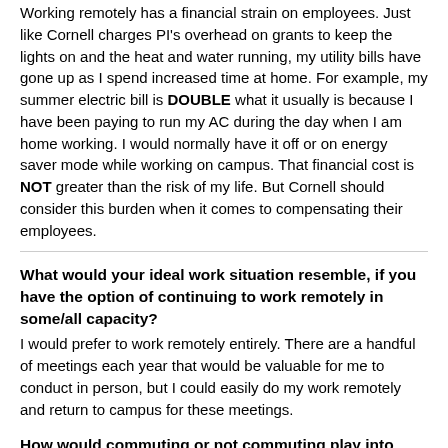Working remotely has a financial strain on employees. Just like Cornell charges PI's overhead on grants to keep the lights on and the heat and water running, my utility bills have gone up as I spend increased time at home. For example, my summer electric bill is DOUBLE what it usually is because I have been paying to run my AC during the day when I am home working. I would normally have it off or on energy saver mode while working on campus. That financial cost is NOT greater than the risk of my life. But Cornell should consider this burden when it comes to compensating their employees.
What would your ideal work situation resemble, if you have the option of continuing to work remotely in some/all capacity?
I would prefer to work remotely entirely. There are a handful of meetings each year that would be valuable for me to conduct in person, but I could easily do my work remotely and return to campus for these meetings.
How would commuting or not commuting play into your ideal scenario?